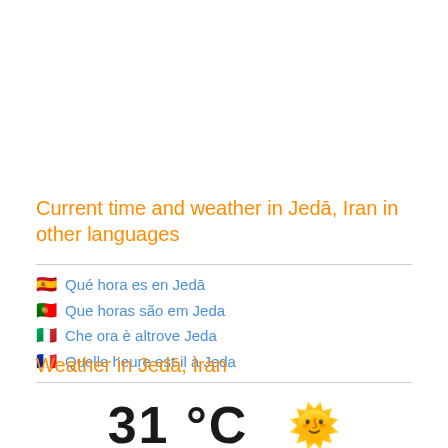Current time and weather in Jedā, Iran in other languages
🇪🇸 Qué hora es en Jedā
🇵🇹 Que horas são em Jeda
🇮🇹 Che ora è altrove Jeda
🇫🇷 Quelle heure est-il à Jeda
Weather in Jedā, Iran
31 °C ☀